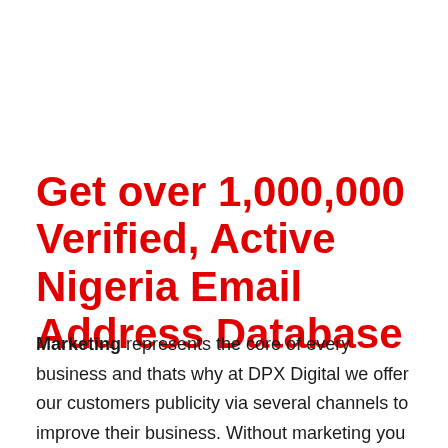Get over 1,000,000 Verified, Active Nigeria Email Address Database
Marketing represents the core of every business and thats why at DPX Digital we offer our customers publicity via several channels to improve their business. Without marketing you shouldn't have any business designing a website, its simply puts that your business is dead upon arrival. Having the best of the best product doesn't matter when it comes to